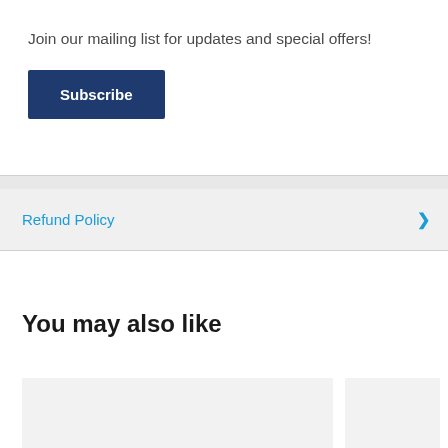×
Join our mailing list for updates and special offers!
Subscribe
Refund Policy
You may also like
[Figure (other): Two placeholder product card images side by side]